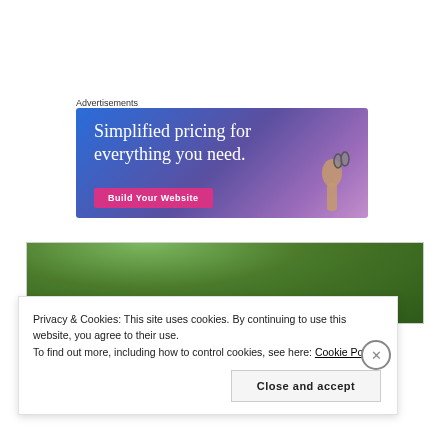Advertisements
[Figure (photo): Advertisement banner with blue-purple gradient background showing text 'Simplified pricing for everything you need.' with a pink 'Build Your Website' button and a hand holding glasses]
[Figure (photo): Outdoor photo showing green trees against sky]
Privacy & Cookies: This site uses cookies. By continuing to use this website, you agree to their use.
To find out more, including how to control cookies, see here: Cookie Policy
Close and accept